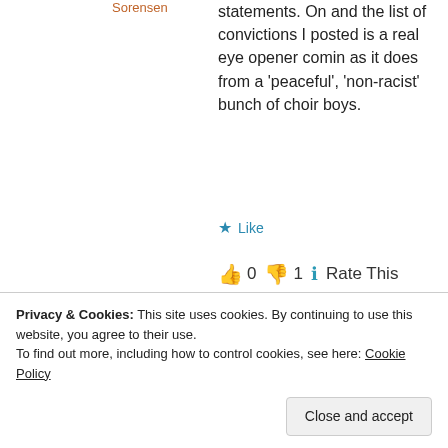Sorensen
statements. On and the list of convictions I posted is a real eye opener comin as it does from a ‘peaceful’, ‘non-racist’ bunch of choir boys.
★ Like
👍 0 👎 1 ℹ Rate This
31 May 2013 at 11:15 pm
[Figure (photo): Avatar photo of a man with grey beard in dark shirt]
Of course they’re not really
Privacy & Cookies: This site uses cookies. By continuing to use this website, you agree to their use. To find out more, including how to control cookies, see here: Cookie Policy
Close and accept